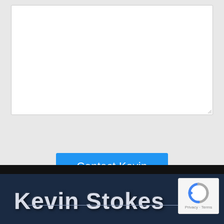[Figure (screenshot): White textarea input box with resize handle in bottom-right corner]
[Figure (screenshot): Blue 'Contact Kevin' button]
Kevin Stokes
[Figure (logo): Google reCAPTCHA badge with logo and Privacy - Terms text]